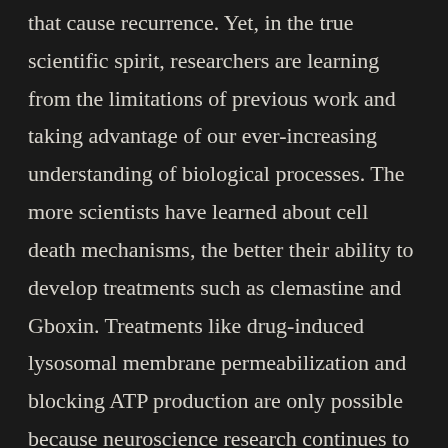…such as migrating, immunotherapy resistant cells that cause recurrence. Yet, in the true scientific spirit, researchers are learning from the limitations of previous work and taking advantage of our ever-increasing understanding of biological processes. The more scientists have learned about cell death mechanisms, the better their ability to develop treatments such as clemastine and Gboxin. Treatments like drug-induced lysosomal membrane permeabilization and blocking ATP production are only possible because neuroscience research continues to evolve and uncover different processes every day. Pharmaceutical studies also are becoming more clinically relevant as more factors associated with GBM are better understood. As we saw with Gboxin, more